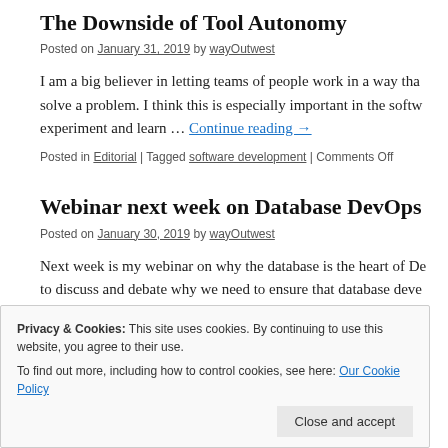The Downside of Tool Autonomy
Posted on January 31, 2019 by wayOutwest
I am a big believer in letting teams of people work in a way that solve a problem. I think this is especially important in the software experiment and learn … Continue reading →
Posted in Editorial | Tagged software development | Comments Off
Webinar next week on Database DevOps
Posted on January 30, 2019 by wayOutwest
Next week is my webinar on why the database is the heart of De to discuss and debate why we need to ensure that database deve
Privacy & Cookies: This site uses cookies. By continuing to use this website, you agree to their use.
To find out more, including how to control cookies, see here: Our Cookie Policy